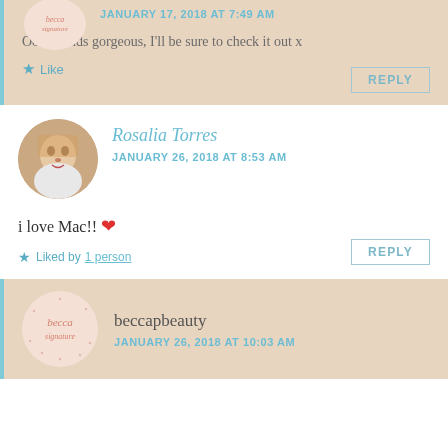Ooo sounds gorgeous, I'll be sure to check it out x
Like
REPLY
Rosalia Torres
JANUARY 26, 2018 AT 8:53 AM
i love Mac!! ❤
Liked by 1 person
REPLY
beccapbeauty
JANUARY 26, 2018 AT 10:03 AM